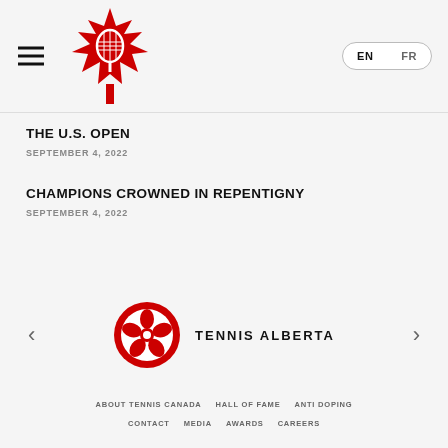[Figure (logo): Tennis Canada logo: red maple leaf with tennis racket overlay]
THE U.S. OPEN
SEPTEMBER 4, 2022
CHAMPIONS CROWNED IN REPENTIGNY
SEPTEMBER 4, 2022
[Figure (logo): Tennis Alberta logo: red circle with white flower/rosette design]
ABOUT TENNIS CANADA   HALL OF FAME   ANTI DOPING   CONTACT   MEDIA   AWARDS   CAREERS